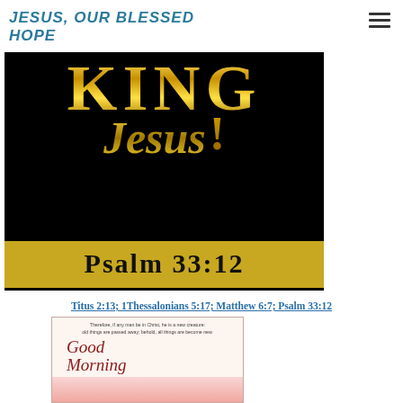JESUS, OUR BLESSED HOPE
[Figure (illustration): Black and gold image showing 'KING Jesus!' in glittery gold letters on black background with gold banner at bottom showing 'Psalm 33:12' in decorative serif font]
Titus 2:13; 1Thessalonians 5:17; Matthew 6:7; Psalm 33:12
[Figure (illustration): Inspirational Good Morning card with hummingbird, pink flowers, and Bible verse: 'Therefore, if any man be in Christ, he is a new creature: old things are passed away; behold, all things are become new.' with 'Good Morning' in script]